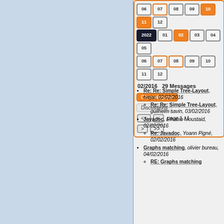[Figure (screenshot): Navigation calendar widget showing month/year buttons with orange highlights for 2022, with rows for 06-12 and 01-08 range]
02/2016   29 Messages
Chronologique
Discussions
<< < page 1 / 1
> >>
Re: Re: Simple Tree-Layout, tvejar, 02/02/2016
Re: Re: Simple Tree-Layout, guilhelm savin, 03/02/2016
Javadoc, Elhabib Moustaid, 02/02/2016
Re: Javadoc, Yoann Pigné, 02/02/2016
Graphs matching, olivier bureau, 04/02/2016
RE: Graphs matching